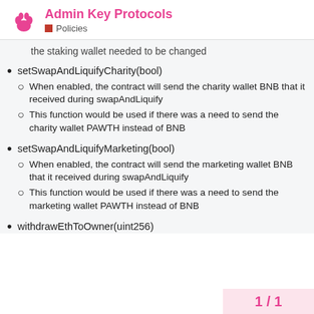Admin Key Protocols — Policies
the staking wallet needed to be changed
setSwapAndLiquifyCharity(bool)
When enabled, the contract will send the charity wallet BNB that it received during swapAndLiquify
This function would be used if there was a need to send the charity wallet PAWTH instead of BNB
setSwapAndLiquifyMarketing(bool)
When enabled, the contract will send the marketing wallet BNB that it received during swapAndLiquify
This function would be used if there was a need to send the marketing wallet PAWTH instead of BNB
withdrawEthToOwner(uint256)
1 / 1